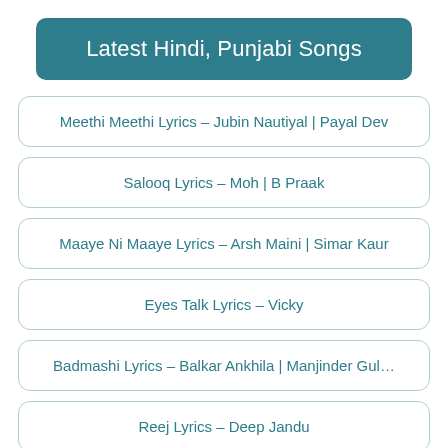Latest Hindi, Punjabi Songs
Meethi Meethi Lyrics – Jubin Nautiyal | Payal Dev
Salooq Lyrics – Moh | B Praak
Maaye Ni Maaye Lyrics – Arsh Maini | Simar Kaur
Eyes Talk Lyrics – Vicky
Badmashi Lyrics – Balkar Ankhila | Manjinder Gul…
Reej Lyrics – Deep Jandu